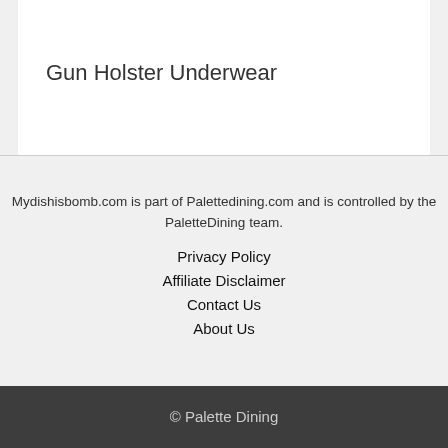Gun Holster Underwear
Mydishisbomb.com is part of Palettedining.com and is controlled by the PaletteDining team.
Privacy Policy
Affiliate Disclaimer
Contact Us
About Us
© Palette Dining